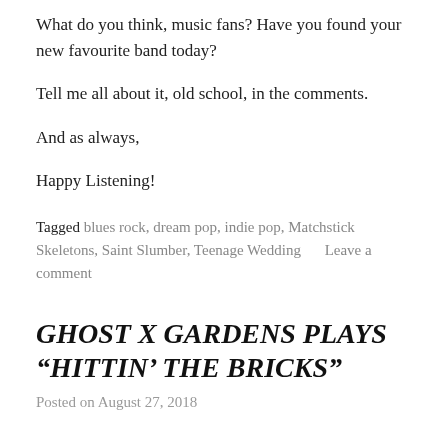What do you think, music fans? Have you found your new favourite band today?
Tell me all about it, old school, in the comments.
And as always,
Happy Listening!
Tagged blues rock, dream pop, indie pop, Matchstick Skeletons, Saint Slumber, Teenage Wedding      Leave a comment
GHOST X GARDENS PLAYS “HITTIN’ THE BRICKS”
Posted on August 27, 2018